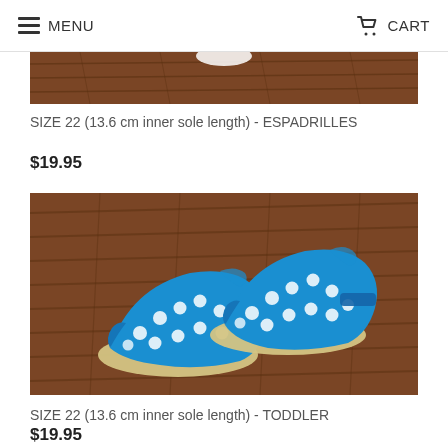MENU   CART
[Figure (photo): Partial bottom of a product photo visible at top of page, showing wooden deck surface]
SIZE 22 (13.6 cm inner sole length) - ESPADRILLES
$19.95
[Figure (photo): Blue polka-dot children's canvas sneakers/espadrilles placed on a wooden deck surface. The shoes are bright blue with white dots and have a cream/beige rubber sole.]
SIZE 22 (13.6 cm inner sole length) - TODDLER
$19.95